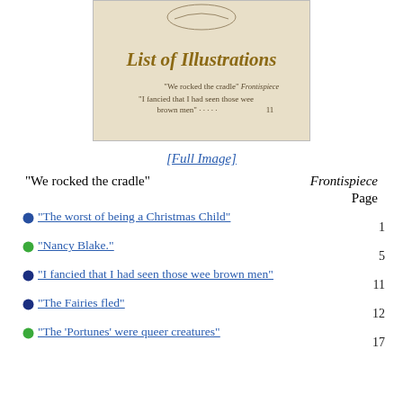[Figure (illustration): Decorative header image showing 'List of Illustrations' in ornate calligraphic script with a figure above and text listing 'We rocked the cradle' (Frontispiece) and 'I fancied that I had seen those wee brown men' (Page 11)]
[Full Image]
"We rocked the cradle"    Frontispiece
Page
"The worst of being a Christmas Child"  1
"Nancy Blake."  5
"I fancied that I had seen those wee brown men"  11
"The Fairies fled"  12
"The 'Portunes' were queer creatures"  17